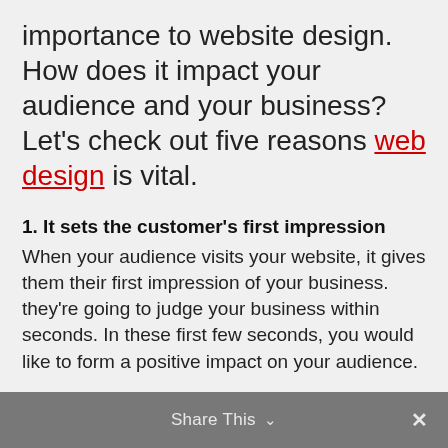importance to website design. How does it impact your audience and your business? Let's check out five reasons web design is vital.
1. It sets the customer's first impression
When your audience visits your website, it gives them their first impression of your business. they're going to judge your business within seconds. In these first few seconds, you would like to form a positive impact on your audience.
Share This ∨  ✕